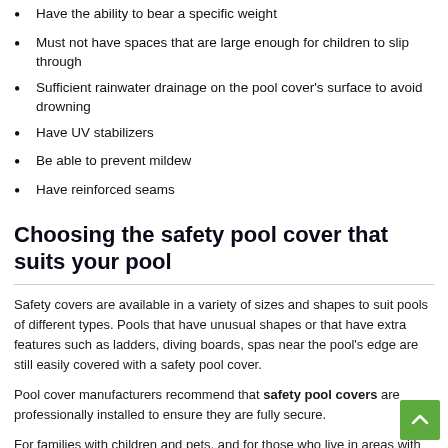Have the ability to bear a specific weight
Must not have spaces that are large enough for children to slip through
Sufficient rainwater drainage on the pool cover's surface to avoid drowning
Have UV stabilizers
Be able to prevent mildew
Have reinforced seams
Choosing the safety pool cover that suits your pool
Safety covers are available in a variety of sizes and shapes to suit pools of different types. Pools that have unusual shapes or that have extra features such as ladders, diving boards, spas near the pool's edge are still easily covered with a safety pool cover.
Pool cover manufacturers recommend that safety pool covers are professionally installed to ensure they are fully secure.
For families with children and pets, and for those who live in areas with wild life, a safety pool cover is a must-have